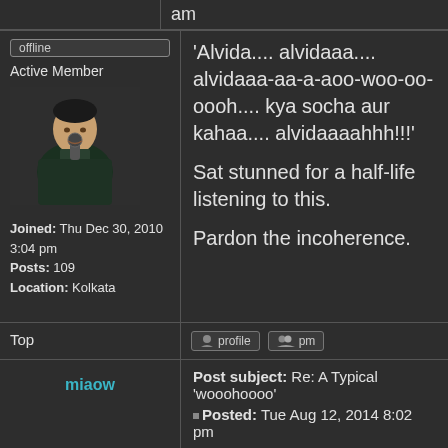am
[Figure (photo): Avatar photo of a man with a microphone, dark background]
offline
Active Member
Joined: Thu Dec 30, 2010 3:04 pm
Posts: 109
Location: Kolkata
'Alvida.... alvidaaa.... alvidaaa-aa-a-aoo-woo-oo-oooh.... kya socha aur kahaa.... alvidaaaahhh!!!'
Sat stunned for a half-life listening to this.
Pardon the incoherence.
Top
profile   pm
miaow
Post subject: Re: A Typical 'wooohoooo'
▪ Posted: Tue Aug 12, 2014 8:02 pm